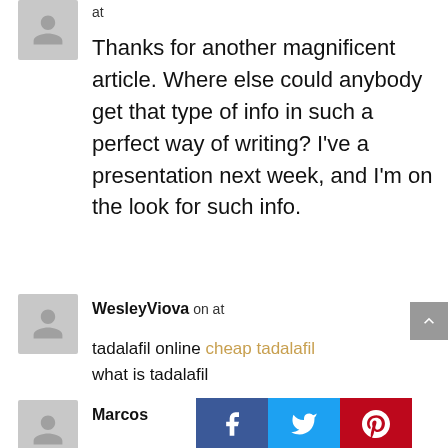at
Thanks for another magnificent article. Where else could anybody get that type of info in such a perfect way of writing? I've a presentation next week, and I'm on the look for such info.
WesleyViova on at
tadalafil online cheap tadalafil what is tadalafil
Marcos